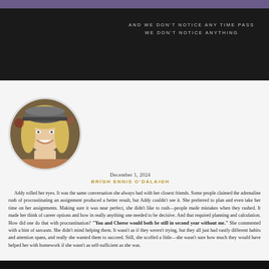AND WE DON'T NOTICE ANY TIME PASS
WE DON'T NOTICE ANYTHING
[Figure (photo): Circular profile photo of a young blonde woman wearing a baseball cap, smiling]
December 1, 2024
BRÍGH ENNIS O'DALAIGH
Addy rolled her eyes. It was the same conversation she always had with her closest friends. Some people claimed the adrenaline rush of procrastinating an assignment produced a better result, but Addy couldn't see it. She preferred to plan and even take her time on her assignments. Making sure it was near perfect, she didn't like to rush—people made mistakes when they rushed. It made her think of career options and how in really anything one needed to be decisive. And that required planning and calculation. How did one do that with procrastination? "You and Cheese would both be still in second year without me." She commented with a hint of sarcasm. She didn't mind helping them. It wasn't as if they weren't trying, but they all just had vastly different habits and attention spans, and really she wanted them to succeed. Still, she scoffed a little—she wasn't sure how much they would have helped her with homework if she wasn't as self-sufficient as she was.
Brigh apologized for keeping the information from Addy, but now that she knew she was more intrigued than anything. She supposed it was a good balance. Brigh and Albus' personalities were vastly different. Addy didn't have much experience dating. It wasn't a subject she would ever admit was not easy for her. There was no textbook, no instructions, how did one excel at a topic they could not study? Brigh brought up Albus' sister, Lily, and Addy's thought for a moment—her expression showing her thinking. "I doubt it. My brother